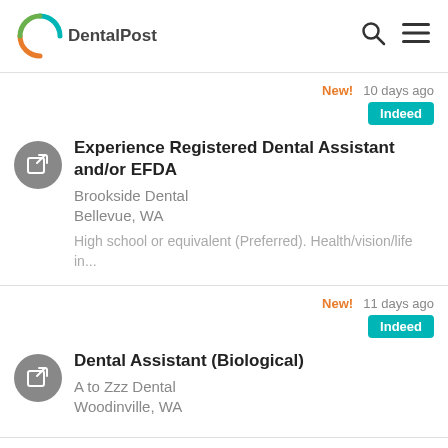DentalPost
New!  10 days ago
Indeed
Experience Registered Dental Assistant and/or EFDA
Brookside Dental
Bellevue, WA
High school or equivalent (Preferred). Health/vision/life in...
New!  11 days ago
Indeed
Dental Assistant (Biological)
A to Zzz Dental
Woodinville, WA